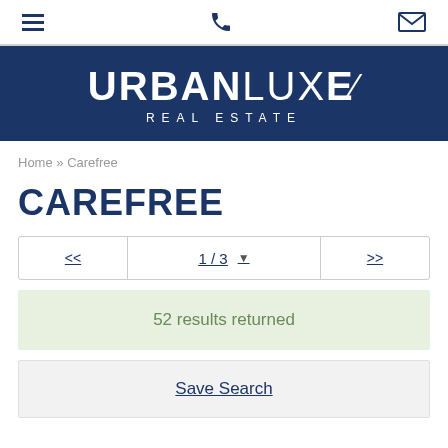Navigation bar with menu, phone, and email icons
[Figure (logo): UrbanLuxe Real Estate logo — white bold text on dark navy blue background]
Home » Carefree
CAREFREE
<< 1 / 3 ▼ >>
52 results returned
Save Search